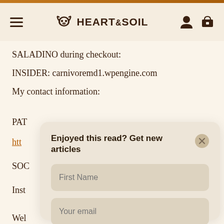HEART&SOIL
SALADINO during checkout:
INSIDER: carnivoremd1.wpengine.com
My contact information:
PAT
http
SOC
Inst
Wel
[Figure (screenshot): Modal popup with title 'Enjoyed this read? Get new articles', a First Name input field, a Your email input field, and a Subscribe button. A close (X) button is in the top right corner.]